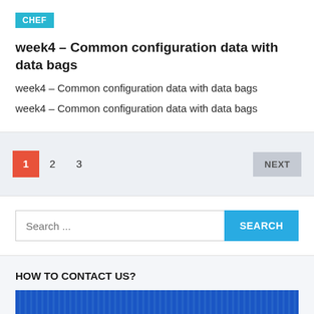[Figure (other): CHEF tag label in teal/cyan background]
week4 – Common configuration data with data bags
week4 – Common configuration data with data bags
week4 – Common configuration data with data bags
Pagination: 1 (active), 2, 3, NEXT
Search ...
HOW TO CONTACT US?
[Figure (other): Blue banner with italic text partially visible]